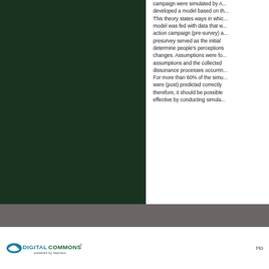[Figure (photo): Dark green image area on the left side of the page, showing a dark forest or environmental scene]
campaign were simulated by... developed a model based on th... This theory states ways in whic... model was fed with data that w... action campaign (pre-survey) a... presurvey served as the initial... determine people's perceptions... changes. Assumptions were fo... assumptions and the collected... dissonance processes occurrin... For more than 60% of the simu... were (post) predicted correctly... therefore, it should be possible... effective by conducting simula...
[Figure (logo): DigitalCommons powered by bepress logo in the footer]
Ho